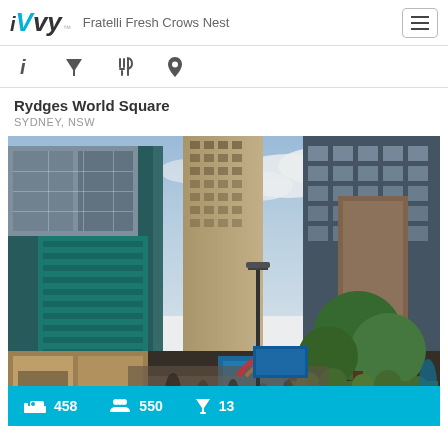iVvy — Fratelli Fresh Crows Nest
Rydges World Square
SYDNEY, NSW
[Figure (photo): Wide-angle upward photograph of Rydges World Square in Sydney CBD, showing tall skyscrapers, a pedestrian square with trees and people, and a blue sky with clouds.]
458  550  13